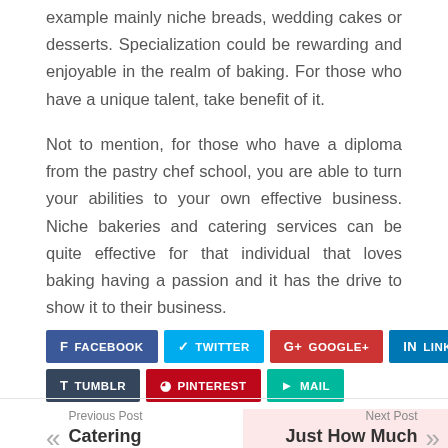example mainly niche breads, wedding cakes or desserts. Specialization could be rewarding and enjoyable in the realm of baking. For those who have a unique talent, take benefit of it.
Not to mention, for those who have a diploma from the pastry chef school, you are able to turn your abilities to your own effective business. Niche bakeries and catering services can be quite effective for that individual that loves baking having a passion and it has the drive to show it to their business.
FACEBOOK
TWITTER
GOOGLE+
LINKEDIN
TUMBLR
PINTEREST
MAIL
Previous Post
Catering Services in
Next Post
Just How Much Are Brides